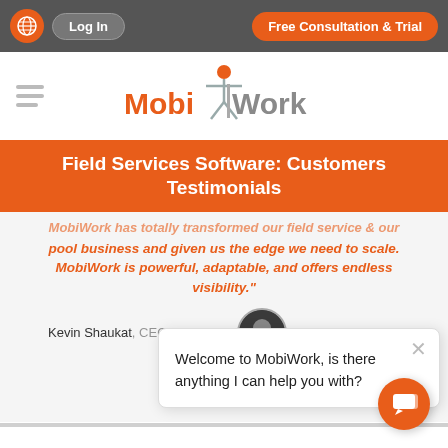Log In | Free Consultation & Trial
[Figure (logo): MobiWork logo with orange figure and gray text]
Field Services Software: Customers Testimonials
pool business and given us the edge we need to scale. MobiWork is powerful, adaptable, and offers endless visibility."
Kevin Shaukat, CEO of Clearwater
Welcome to MobiWork, is there anything I can help you with?